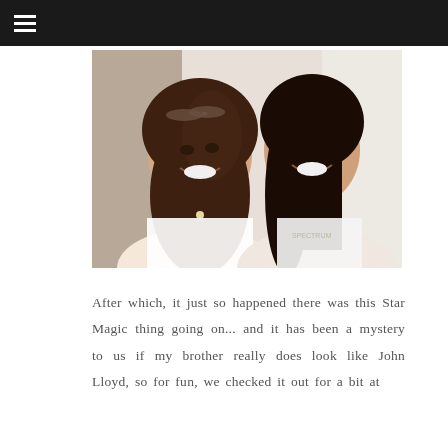[Figure (photo): Two young Asian women smiling closely together for a selfie-style photo. The woman on the left has long wavy brown hair with sunglasses on her head and is wearing a white top with a necklace. The woman on the right has straight dark hair and is wearing a white graphic t-shirt.]
After which, it just so happened there was this Star Magic thing going on... and it has been a mystery to us if my brother really does look like John Lloyd, so for fun, we checked it out for a bit at